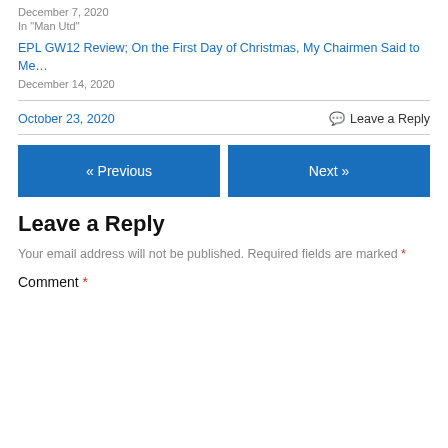December 7, 2020
In "Man Utd"
EPL GW12 Review; On the First Day of Christmas, My Chairmen Said to Me…
December 14, 2020
October 23, 2020
Leave a Reply
« Previous
Next »
Leave a Reply
Your email address will not be published. Required fields are marked *
Comment *